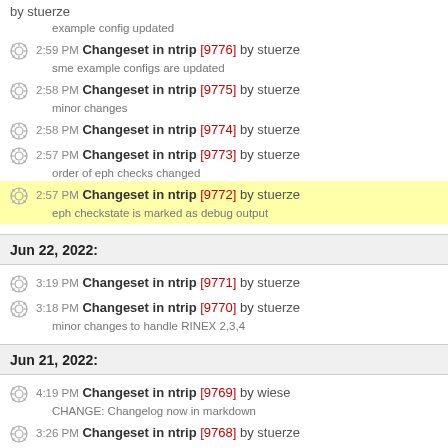by stuerze
example config updated
2:59 PM Changeset in ntrip [9776] by stuerze — sme example configs are updated
2:58 PM Changeset in ntrip [9775] by stuerze — minor changes
2:58 PM Changeset in ntrip [9774] by stuerze
2:57 PM Changeset in ntrip [9773] by stuerze — order of eph checks changed
2:57 PM Changeset in ntrip [9772] by stuerze — eph checkstate is marked as debug output
Jun 22, 2022:
3:19 PM Changeset in ntrip [9771] by stuerze
3:18 PM Changeset in ntrip [9770] by stuerze — minor changes to handle RINEX 2,3,4
Jun 21, 2022:
4:19 PM Changeset in ntrip [9769] by wiese — CHANGE: Changelog now in markdown
3:26 PM Changeset in ntrip [9768] by stuerze